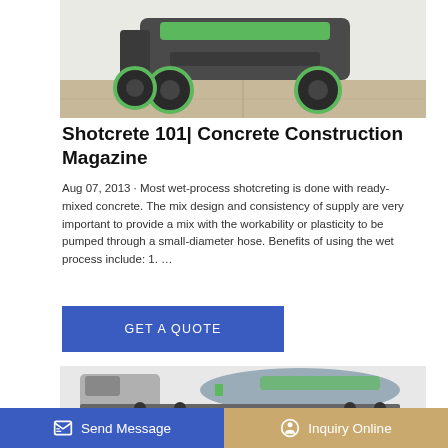[Figure (photo): Green and black construction vehicle (shotcrete/concrete sprayer) photographed from front-low angle on concrete floor]
Shotcrete 101| Concrete Construction Magazine
Aug 07, 2013 · Most wet-process shotcreting is done with ready-mixed concrete. The mix design and consistency of supply are very important to provide a mix with the workability or plasticity to be pumped through a small-diameter hose. Benefits of using the wet process include: 1. …
[Figure (other): Blue button labeled GET A QUOTE]
[Figure (photo): Green and grey concrete mixer truck photographed from the side with a large rotating drum]
[Figure (other): Bottom navigation bar with Send Message (blue) and Inquiry Online (tan/gold) buttons]